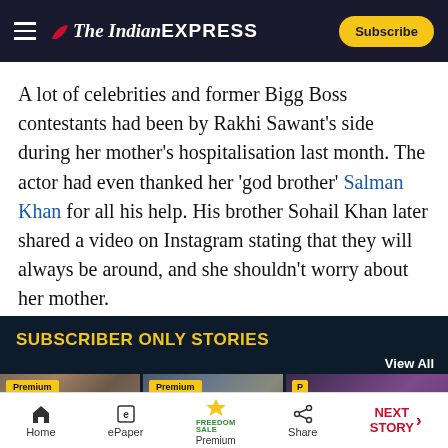The Indian Express — Subscribe
A lot of celebrities and former Bigg Boss contestants had been by Rakhi Sawant's side during her mother's hospitalisation last month. The actor had even thanked her 'god brother' Salman Khan for all his help. His brother Sohail Khan later shared a video on Instagram stating that they will always be around, and she shouldn't worry about her mother.
SUBSCRIBER ONLY STORIES
[Figure (photo): View All - three thumbnail images with Premium badges for subscriber-only stories]
Home | ePaper | Premium (FREEDOM SALE) | Share | NEXT STORY